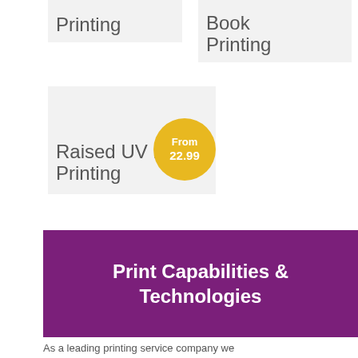[Figure (other): Card showing partial text 'Printing' on a light grey background]
[Figure (other): Card showing text 'Book Printing' on a light grey background]
[Figure (other): Card showing text 'Raised UV Foil Printing' on a light grey background with a yellow circular badge showing 'From 22.99']
Print Capabilities & Technologies
As a leading printing service company we